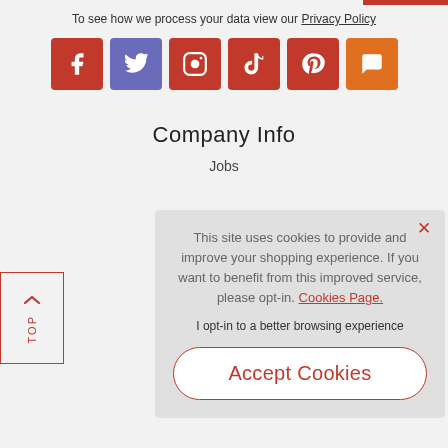To see how we process your data view our Privacy Policy
[Figure (infographic): Row of 6 social media icon buttons: Facebook (dark red), Twitter (dark red), Instagram (dark red), TikTok (dark red), Pinterest (dark red), Chat/Message (orange). All square with rounded corners and white icons.]
Company Info
Jobs
This site uses cookies to provide and improve your shopping experience. If you want to benefit from this improved service, please opt-in. Cookies Page.
I opt-in to a better browsing experience
Accept Cookies